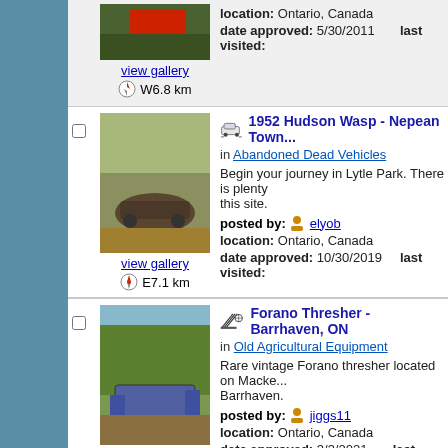location: Ontario, Canada
date approved: 5/30/2011   last visited:
view gallery
W6.8 km
1952 Hudson Wasp - Nepean Town...
in Abandoned Dead Vehicles
Begin your journey in Lytle Park. There is plenty... this site.
posted by: elyob
location: Ontario, Canada
date approved: 10/30/2019   last visited:
view gallery
E7.1 km
Forano Thresher - Barrhaven, ON
in Old Agricultural Equipment
Rare vintage Forano thresher located on Macke... Barrhaven.
posted by: jiggs11
location: Ontario, Canada
date approved: 3/3/2021   last visited: